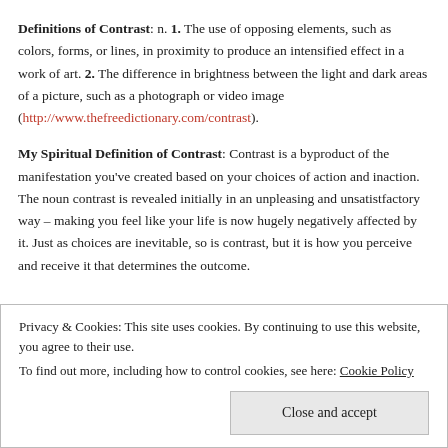Definitions of Contrast: n. 1. The use of opposing elements, such as colors, forms, or lines, in proximity to produce an intensified effect in a work of art. 2. The difference in brightness between the light and dark areas of a picture, such as a photograph or video image (http://www.thefreedictionary.com/contrast).
My Spiritual Definition of Contrast: Contrast is a byproduct of the manifestation you've created based on your choices of action and inaction. The noun contrast is revealed initially in an unpleasing and unsatistfactory way – making you feel like your life is now hugely negatively affected by it. Just as choices are inevitable, so is contrast, but it is how you perceive and receive it that determines the outcome.
Privacy & Cookies: This site uses cookies. By continuing to use this website, you agree to their use. To find out more, including how to control cookies, see here: Cookie Policy